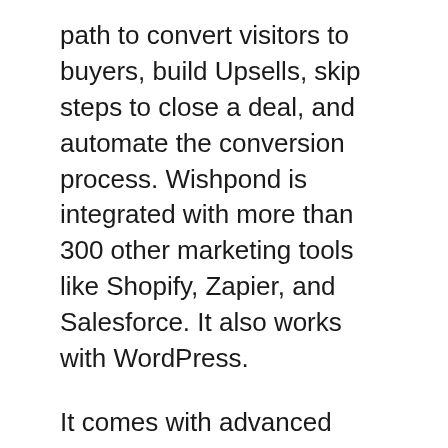path to convert visitors to buyers, build Upsells, skip steps to close a deal, and automate the conversion process. Wishpond is integrated with more than 300 other marketing tools like Shopify, Zapier, and Salesforce. It also works with WordPress.
It comes with advanced marketing features like a landing page builder as well as social media promotion. You can select from more than 100 templates and modify them to fit your site's design and branding. Wishpond also helps you capture leads and manage them and its forms make it easy to communicate with your team about sales funnel performance. It also helps you customize landing pages to suit your audience's particular needs and increase the